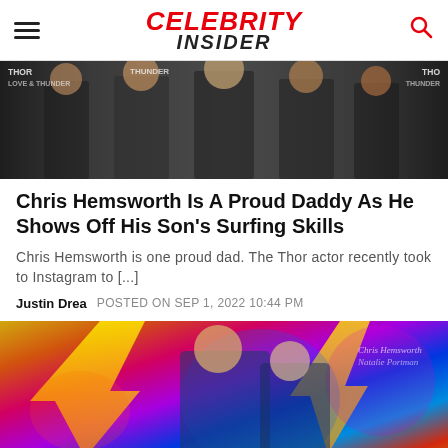CELEBRITY INSIDER
[Figure (photo): Group photo of people at a Thor movie premiere event with Thor Love and Thunder banners in background]
Chris Hemsworth Is A Proud Daddy As He Shows Off His Son's Surfing Skills
Chris Hemsworth is one proud dad. The Thor actor recently took to Instagram to [...]
Justin Drea   POSTED ON SEP 1, 2022 10:44 PM
[Figure (photo): Thor Love and Thunder movie poster showing two characters in superhero costumes against colorful lightning background]